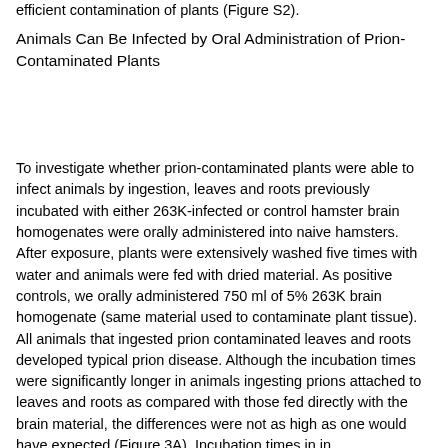efficient contamination of plants (Figure S2).
Animals Can Be Infected by Oral Administration of Prion-Contaminated Plants
To investigate whether prion-contaminated plants were able to infect animals by ingestion, leaves and roots previously incubated with either 263K-infected or control hamster brain homogenates were orally administered into naive hamsters. After exposure, plants were extensively washed five times with water and animals were fed with dried material. As positive controls, we orally administered 750 ml of 5% 263K brain homogenate (same material used to contaminate plant tissue). All animals that ingested prion contaminated leaves and roots developed typical prion disease. Although the incubation times were significantly longer in animals ingesting prions attached to leaves and roots as compared with those fed directly with the brain material, the differences were not as high as one would have expected (Figure 3A). Incubation times in in